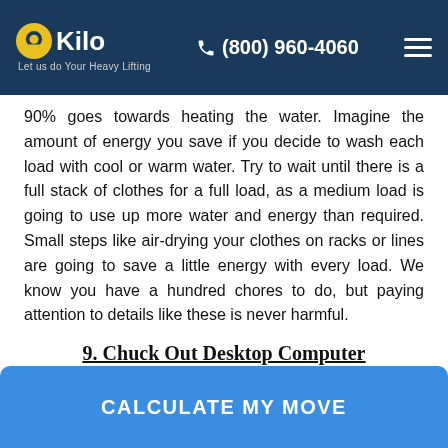[Figure (logo): Kilo moving company logo and navigation bar with phone number (800) 960-4060 and hamburger menu on dark blue background]
90% goes towards heating the water. Imagine the amount of energy you save if you decide to wash each load with cool or warm water. Try to wait until there is a full stack of clothes for a full load, as a medium load is going to use up more water and energy than required. Small steps like air-drying your clothes on racks or lines are going to save a little energy with every load. We know you have a hundred chores to do, but paying attention to details like these is never harmful.
9. Chuck Out Desktop Computer
You have no idea how much energy your desktop
CALCULATE MY MOVE